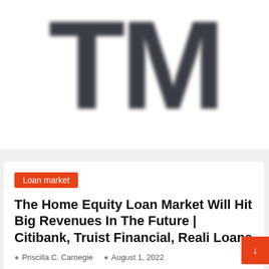[Figure (logo): Large bold blurred TM letters in dark charcoal color on white background, resembling a trademark/brand logo]
Loan market
The Home Equity Loan Market Will Hit Big Revenues In The Future | Citibank, Truist Financial, Reali Loans
Priscilla C. Carnegie   August 1, 2022